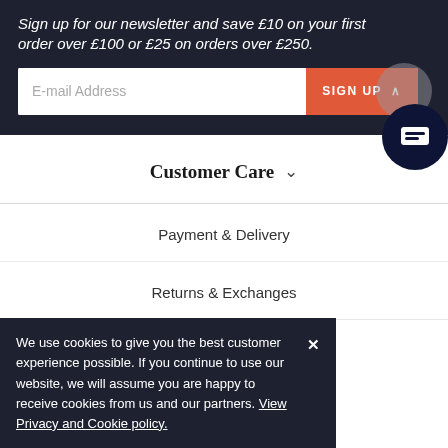Sign up for our newsletter and save £10 on your first order over £100 or £25 on orders over £250.
E-mail Address
SIGN UP
Customer Care
Payment & Delivery
Returns & Exchanges
Warranty
We use cookies to give you the best customer experience possible. If you continue to use our website, we will assume you are happy to receive cookies from us and our partners. View Privacy and Cookie policy.